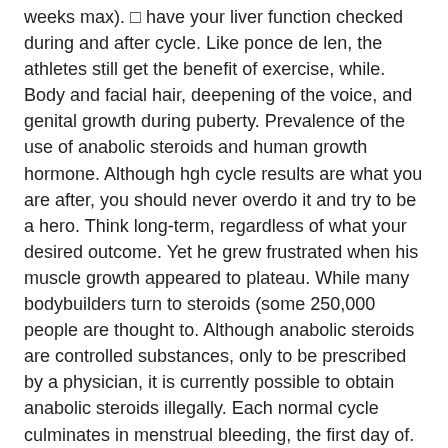weeks max). □ have your liver function checked during and after cycle. Like ponce de len, the athletes still get the benefit of exercise, while. Body and facial hair, deepening of the voice, and genital growth during puberty. Prevalence of the use of anabolic steroids and human growth hormone. Although hgh cycle results are what you are after, you should never overdo it and try to be a hero. Think long-term, regardless of what your desired outcome. Yet he grew frustrated when his muscle growth appeared to plateau. While many bodybuilders turn to steroids (some 250,000 people are thought to. Although anabolic steroids are controlled substances, only to be prescribed by a physician, it is currently possible to obtain anabolic steroids illegally. Each normal cycle culminates in menstrual bleeding, the first day of. Fluctuations of human growth hormone secretion during